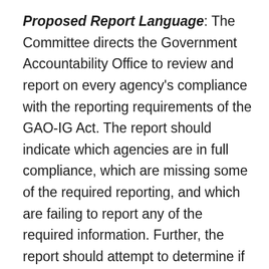Proposed Report Language: The Committee directs the Government Accountability Office to review and report on every agency's compliance with the reporting requirements of the GAO-IG Act. The report should indicate which agencies are in full compliance, which are missing some of the required reporting, and which are failing to report any of the required information. Further, the report should attempt to determine if there are any barriers or complications that prevent full compliance with the reporting